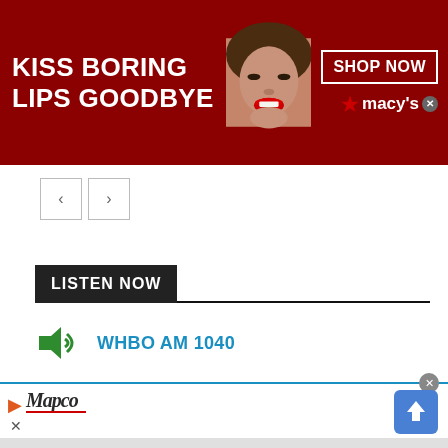[Figure (screenshot): Macy's banner advertisement with dark red background, woman's face with red lips, text 'KISS BORING LIPS GOODBYE', 'SHOP NOW' button, and Macy's star logo]
[Figure (screenshot): Navigation back/forward arrow buttons]
LISTEN NOW
WHBO AM 1040
WWBA AM 820
[Figure (screenshot): Bottom advertisement bar with orange play button, Mapco logo, close X button, and blue diamond navigation icon]